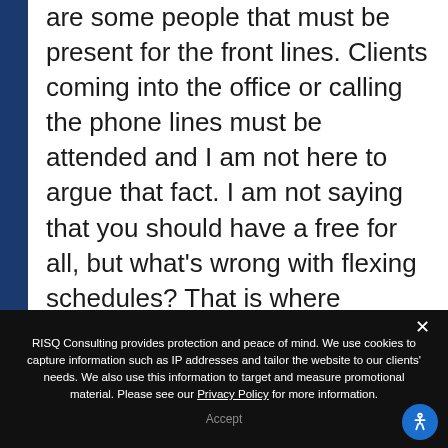are some people that must be present for the front lines. Clients coming into the office or calling the phone lines must be attended and I am not here to argue that fact. I am not saying that you should have a free for all, but what's wrong with flexing schedules? That is where teamwork makes the dream work. Working together as a team to make sure phones and clients coming into the office are being greeted appropriately leads to happy
RISQ Consulting provides protection and peace of mind. We use cookies to capture information such as IP addresses and tailor the website to our clients' needs. We also use this information to target and measure promotional material. Please see our Privacy Policy for more information.
Accept